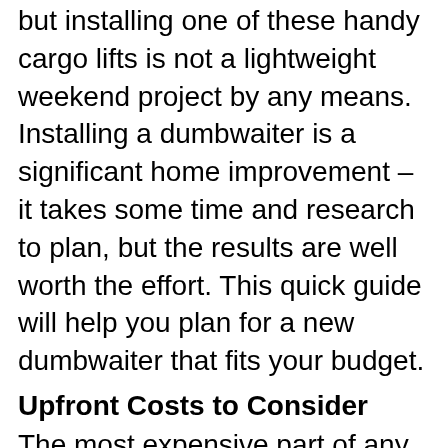but installing one of these handy cargo lifts is not a lightweight weekend project by any means. Installing a dumbwaiter is a significant home improvement – it takes some time and research to plan, but the results are well worth the effort. This quick guide will help you plan for a new dumbwaiter that fits your budget.
Upfront Costs to Consider
The most expensive part of any dumbwaiter is the installation. This task requires skill and very specialized training, and sometimes the professionals have to take extra time to receive manufacturer approval and trade certifications. Knowledge of local building and fire codes is required. Dumbwaiter installation professionals charge rates that reflect